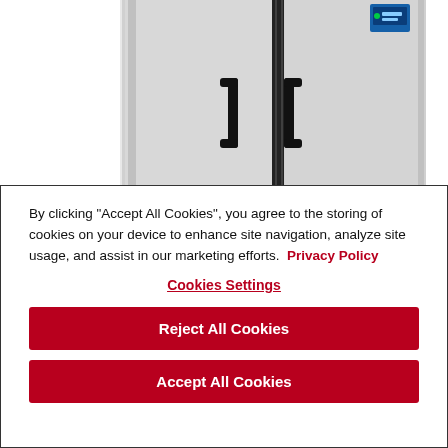[Figure (photo): Commercial stainless steel two-door refrigerator/freezer unit, viewed from the front, showing two side-by-side doors with handles and a small blue digital display panel in the upper right corner.]
By clicking "Accept All Cookies", you agree to the storing of cookies on your device to enhance site navigation, analyze site usage, and assist in our marketing efforts.  Privacy Policy
Cookies Settings
Reject All Cookies
Accept All Cookies